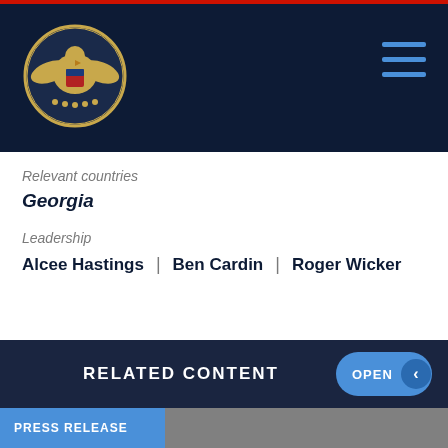[Figure (logo): Commission on Security and Cooperation in Europe seal/logo — golden eagle emblem on dark navy background]
Relevant countries
Georgia
Leadership
Alcee Hastings | Ben Cardin | Roger Wicker
RELATED CONTENT
OPEN
PRESS RELEASE